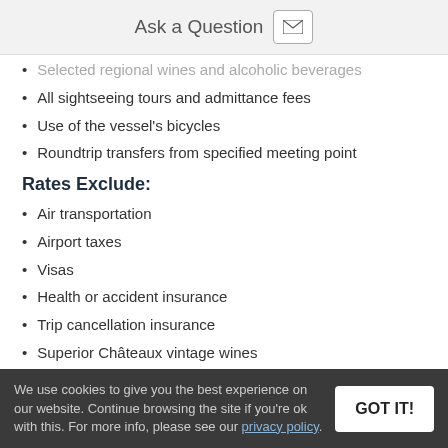Ask a Question
Selected regional wines and alcoholic beverages
All sightseeing tours and admittance fees
Use of the vessel's bicycles
Roundtrip transfers from specified meeting point
Rates Exclude:
Air transportation
Airport taxes
Visas
Health or accident insurance
Trip cancellation insurance
Superior Châteaux vintage wines
Crew gratuities
We use cookies to give you the best experience on our website. Continue browsing the site if you're ok with this. For more info, please see our privacy policy.
GOT IT!